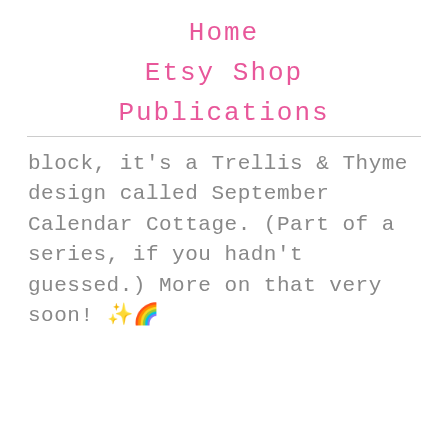Home
Etsy Shop
Publications
block, it's a Trellis & Thyme design called September Calendar Cottage. (Part of a series, if you hadn't guessed.) More on that very soon! ✨🌈